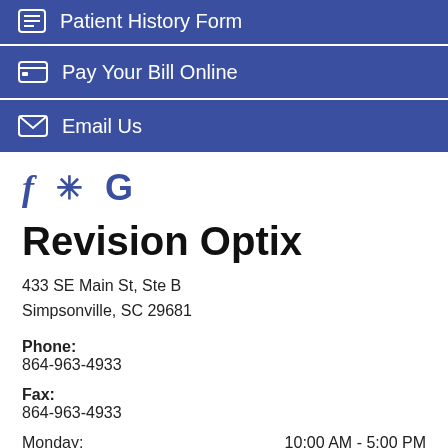Patient History Form
Pay Your Bill Online
Email Us
[Figure (logo): Social media icons: Facebook (f), Yelp (star/asterisk), Google (G) in dark blue]
Revision Optix
433 SE Main St, Ste B
Simpsonville, SC 29681
Phone:
864-963-4933
Fax:
864-963-4933
Monday: 10:00 AM - 5:00 PM